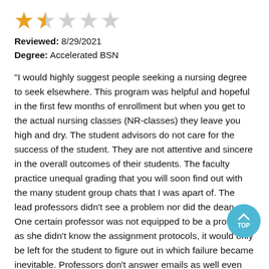[Figure (other): Star rating showing approximately 2 out of 5 stars, with first star fully filled gold, second star partially filled gold, and remaining three stars outlined/empty gold]
Reviewed: 8/29/2021
Degree: Accelerated BSN
"I would highly suggest people seeking a nursing degree to seek elsewhere. This program was helpful and hopeful in the first few months of enrollment but when you get to the actual nursing classes (NR-classes) they leave you high and dry. The student advisors do not care for the success of the student. They are not attentive and sincere in the overall outcomes of their students. The faculty practice unequal grading that you will soon find out with the many student group chats that I was apart of. The lead professors didn't see a problem nor did the dean. One certain professor was not equipped to be a professor as she didn't know the assignment protocols, it would only be left for the student to figure out in which failure became inevitable. Professors don't answer emails as well even though they have a 24